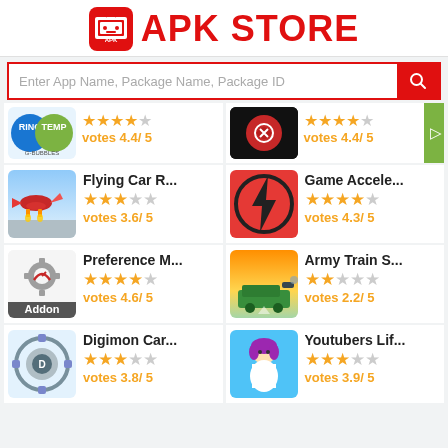APK STORE
Enter App Name, Package Name, Package ID
[Figure (screenshot): Partial app row: G-Bubbles icon (votes 4.4/5), game controller icon (votes 4.4/5)]
Flying Car R... - votes 3.6/5
Game Accele... - votes 4.3/5
Preference M... (Addon) - votes 4.6/5
Army Train S... - votes 2.2/5
Digimon Car... - votes 3.8/5
Youtubers Lif... - votes 3.9/5